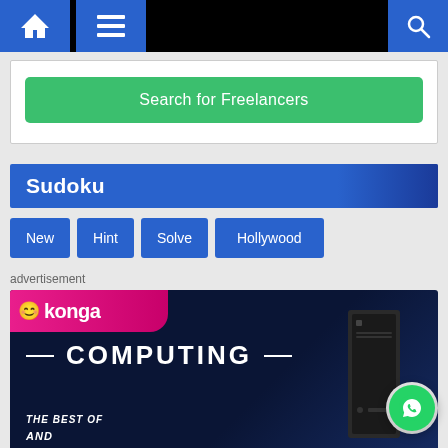Navigation bar with home, menu, and search icons
[Figure (screenshot): Green 'Search for Freelancers' button in a white card]
Sudoku
New
Hint
Solve
Hollywood
advertisement
[Figure (screenshot): Konga computing advertisement banner with dark blue background, pink Konga logo, COMPUTING text, computer tower image, and 'THE BEST OF' starburst badge]